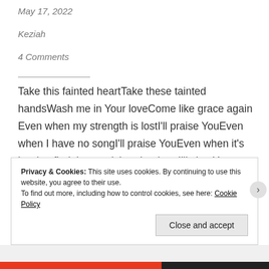May 17, 2022
Keziah
4 Comments
Take this fainted heartTake these tainted handsWash me in Your loveCome like grace again Even when my strength is lostI'll praise YouEven when I have no songI'll praise YouEven when it's hard to find the wordsLouder then I'll sing Your praiseI will only sing Your praise Take this mountain weightTake these ocean
Privacy & Cookies: This site uses cookies. By continuing to use this website, you agree to their use.
To find out more, including how to control cookies, see here: Cookie Policy
Close and accept